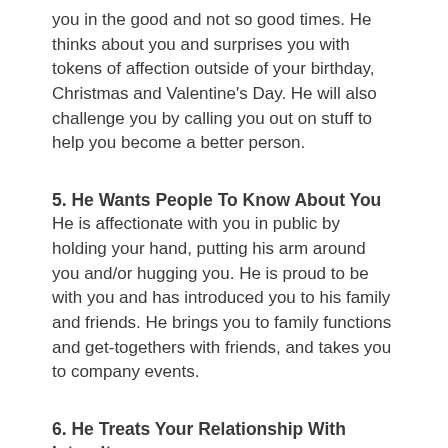you in the good and not so good times. He thinks about you and surprises you with tokens of affection outside of your birthday, Christmas and Valentine's Day. He will also challenge you by calling you out on stuff to help you become a better person.
5. He Wants People To Know About You
He is affectionate with you in public by holding your hand, putting his arm around you and/or hugging you. He is proud to be with you and has introduced you to his family and friends. He brings you to family functions and get-togethers with friends, and takes you to company events.
6. He Treats Your Relationship With Integrity
He is trustworthy and loyal to you and your relationship. He is upfront with you about his past girlfriends and skeletons in his closet. He does what he says and will let you know if he's not able to. When issues come up, he is willing to work through them.